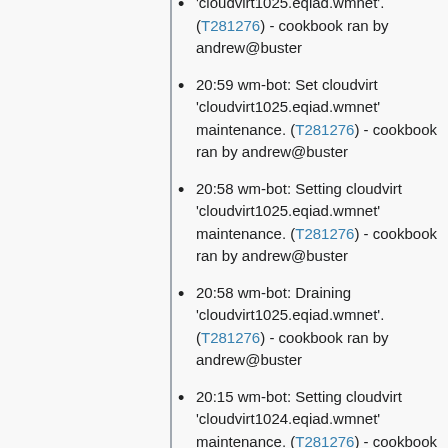'cloudvirt1025.eqiad.wmnet'. (T281276) - cookbook ran by andrew@buster
20:59 wm-bot: Set cloudvirt 'cloudvirt1025.eqiad.wmnet' maintenance. (T281276) - cookbook ran by andrew@buster
20:58 wm-bot: Setting cloudvirt 'cloudvirt1025.eqiad.wmnet' maintenance. (T281276) - cookbook ran by andrew@buster
20:58 wm-bot: Draining 'cloudvirt1025.eqiad.wmnet'. (T281276) - cookbook ran by andrew@buster
20:15 wm-bot: Setting cloudvirt 'cloudvirt1024.eqiad.wmnet' maintenance. (T281276) - cookbook ran by andrew@buster
20:15 wm-bot: Draining